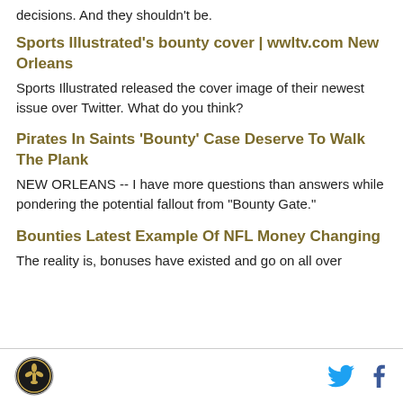decisions. And they shouldn't be.
Sports Illustrated's bounty cover | wwltv.com New Orleans
Sports Illustrated released the cover image of their newest issue over Twitter. What do you think?
Pirates In Saints 'Bounty' Case Deserve To Walk The Plank
NEW ORLEANS -- I have more questions than answers while pondering the potential fallout from "Bounty Gate."
Bounties Latest Example Of NFL Money Changing
The reality is, bonuses have existed and go on all over